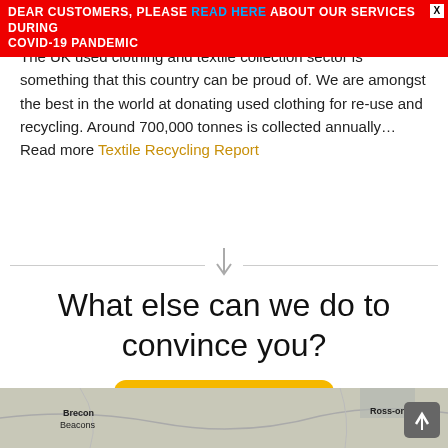DEAR CUSTOMERS, PLEASE READ HERE ABOUT OUR SERVICES DURING COVID-19 PANDEMIC
The UK used clothing and textile collection sector is something that this country can be proud of. We are amongst the best in the world at donating used clothing for re-use and recycling. Around 700,000 tonnes is collected annually… Read more Textile Recycling Report
[Figure (other): Horizontal divider with a downward arrow in the center]
What else can we do to convince you?
Contact Us
[Figure (map): Map showing Brecon Beacons area on the left and Ross-on-Wye on the right]